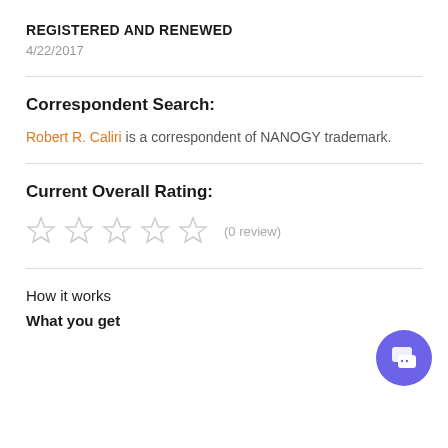REGISTERED AND RENEWED
4/22/2017
Correspondent Search:
Robert R. Caliri is a correspondent of NANOGY trademark.
Current Overall Rating:
[Figure (other): Five empty star rating icons followed by text '(0 review)']
How it works
What you get